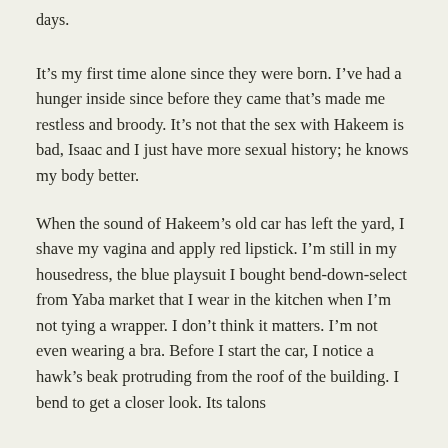It’s my first time alone since they were born. I’ve had a hunger inside since before they came that’s made me restless and broody. It’s not that the sex with Hakeem is bad, Isaac and I just have more sexual history; he knows my body better.
When the sound of Hakeem’s old car has left the yard, I shave my vagina and apply red lipstick. I’m still in my housedress, the blue playsuit I bought bend-down-select from Yaba market that I wear in the kitchen when I’m not tying a wrapper. I don’t think it matters. I’m not even wearing a bra. Before I start the car, I notice a hawk’s beak protruding from the roof of the building. I bend to get a closer look. Its talons